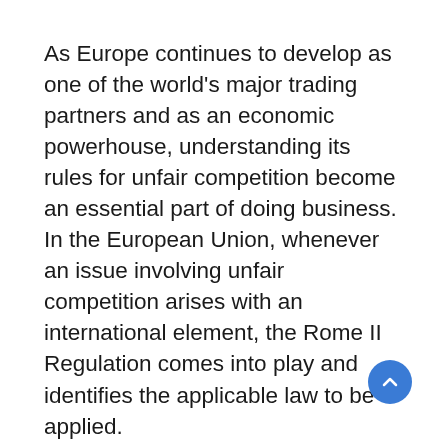As Europe continues to develop as one of the world's major trading partners and as an economic powerhouse, understanding its rules for unfair competition become an essential part of doing business. In the European Union, whenever an issue involving unfair competition arises with an international element, the Rome II Regulation comes into play and identifies the applicable law to be applied.
Rome II introduces a new regime for determining the applicable law in all cases of non-contractual liability with an international element. For example, if the act of unfair competition affects markets or consumers in general, then the laws of the state where competitive relations are affected